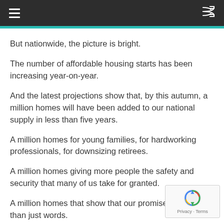≡  ⇌
But nationwide, the picture is bright.
The number of affordable housing starts has been increasing year-on-year.
And the latest projections show that, by this autumn, a million homes will have been added to our national supply in less than five years.
A million homes for young families, for hardworking professionals, for downsizing retirees.
A million homes giving more people the safety and security that many of us take for granted.
A million homes that show that our promises are more than just words.